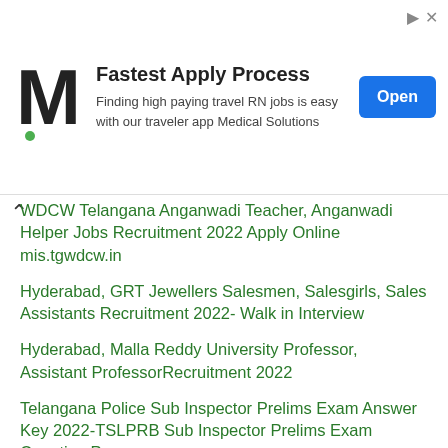[Figure (other): Advertisement banner: Monster logo (M), 'Fastest Apply Process' headline, 'Finding high paying travel RN jobs is easy with our traveler app Medical Solutions', Open button, and ad icons]
WDCW Telangana Anganwadi Teacher, Anganwadi Helper Jobs Recruitment 2022 Apply Online mis.tgwdcw.in
Hyderabad, GRT Jewellers Salesmen, Salesgirls, Sales Assistants Recruitment 2022- Walk in Interview
Hyderabad, Malla Reddy University Professor, Assistant ProfessorRecruitment 2022
Telangana Police Sub Inspector Prelims Exam Answer Key 2022-TSLPRB Sub Inspector Prelims Exam Question Paper
Hyderabad, Chaitanya Bharathi Institute of Technology Principal, Directors, Assistant Professor, Non-Teaching Staff Recruitment 2022- Apply through Email
Hyderabad, Smt. A. Shyamala Devi Degree College for